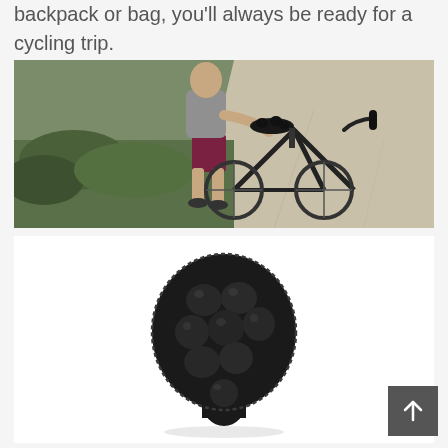backpack or bag, you'll always be ready for a cycling trip.
[Figure (photo): Person wearing grey t-shirt and maroon shorts standing next to a black mountain bike on a path, with a padded bicycle seat cover visible on the saddle.]
[Figure (photo): Close-up product photo of a black 3D cushioned bicycle seat cover with bubble-shaped padding sections, shown on white background.]